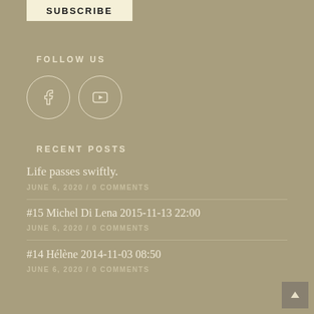SUBSCRIBE
FOLLOW US
[Figure (illustration): Facebook and YouTube social media icons in circles]
RECENT POSTS
Life passes swiftly.
JUNE 6, 2020 /  0 COMMENTS
#15 Michel Di Lena 2015-11-13 22:00
JUNE 6, 2020 /  0 COMMENTS
#14 Hélène 2014-11-03 08:50
JUNE 6, 2020 /  0 COMMENTS